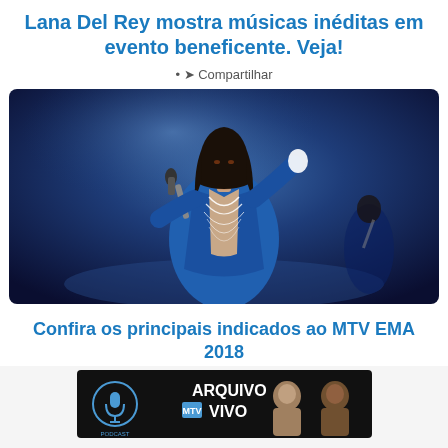Lana Del Rey mostra músicas inéditas em evento beneficente. Veja!
• Compartilhar
[Figure (photo): Singer performing on stage wearing a blue velvet blazer with pearl necklaces, singing into a microphone with one hand raised, dark blue stage lighting background]
Confira os principais indicados ao MTV EMA 2018
[Figure (photo): Podcast banner: ARQUIVO VIVO with two male hosts, dark background with podcast microphone icon]